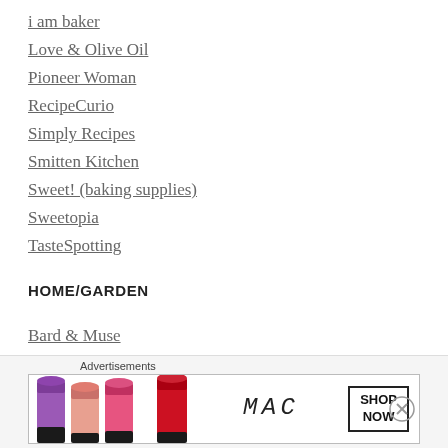i am baker
Love & Olive Oil
Pioneer Woman
RecipeCurio
Simply Recipes
Smitten Kitchen
Sweet! (baking supplies)
Sweetopia
TasteSpotting
HOME/GARDEN
Bard & Muse
She Gilds the Lily
[Figure (other): MAC cosmetics advertisement banner showing lipsticks in purple, pink, and red with MAC logo and SHOP NOW button]